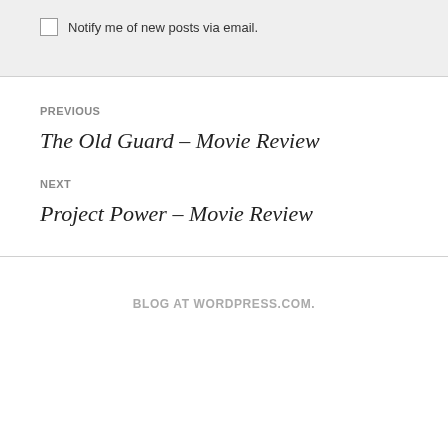Notify me of new posts via email.
PREVIOUS
The Old Guard – Movie Review
NEXT
Project Power – Movie Review
BLOG AT WORDPRESS.COM.